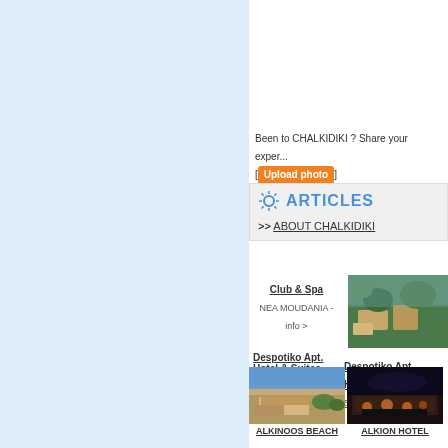[Figure (other): Light blue left panel background]
Been to CHALKIDIKI ? Share your exper... [Upload photo]
ARTICLES
>> ABOUT CHALKIDIKI
Club & Spa
NEA MOUDANIA - info >
[Figure (photo): Aerial view of hotel with green gardens]
Despotiko Apt. Hotel & Suites
SITHONIA - info >
[Figure (photo): Beach hotel photo - ALKINOOS BEACH]
[Figure (photo): Night lit hotel photo - ALKION HOTEL]
ALKINOOS BEACH
ALKION HOTEL